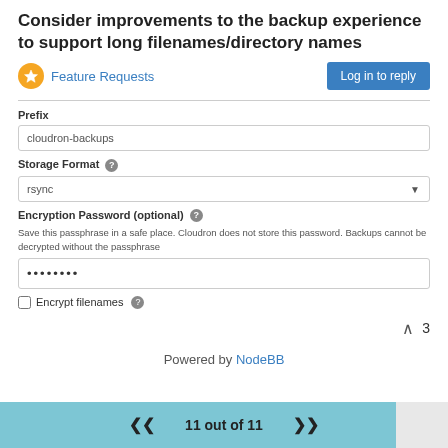Consider improvements to the backup experience to support long filenames/directory names
Feature Requests
Log in to reply
Prefix
cloudron-backups
Storage Format
rsync
Encryption Password (optional)
Save this passphrase in a safe place. Cloudron does not store this password. Backups cannot be decrypted without the passphrase
••••••••
Encrypt filenames
3
Powered by NodeBB
11 out of 11